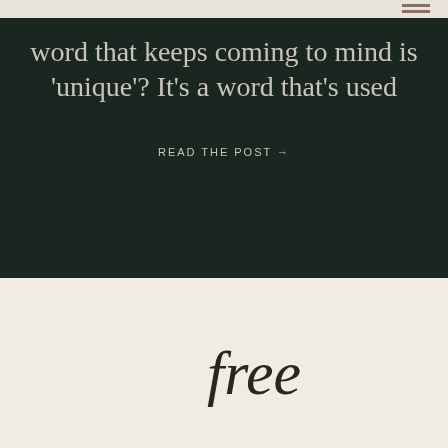word that keeps coming to mind is 'unique'? It's a word that's used
READ THE POST →
free